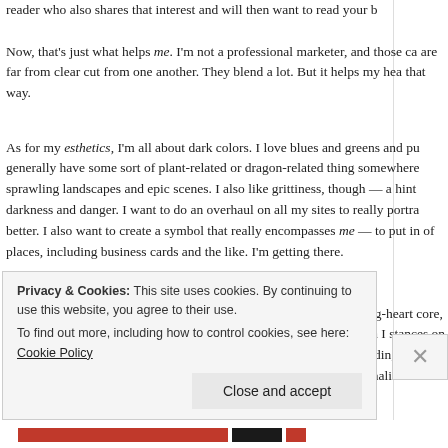reader who also shares that interest and will then want to read your b
Now, that's just what helps me. I'm not a professional marketer, and those ca are far from clear cut from one another. They blend a lot. But it helps my hea that way.
As for my esthetics, I'm all about dark colors. I love blues and greens and pu generally have some sort of plant-related or dragon-related thing somewhere sprawling landscapes and epic scenes. I also like grittiness, though — a hint darkness and danger. I want to do an overhaul on all my sites to really portra better. I also want to create a symbol that really encompasses me — to put in of places, including business cards and the like. I'm getting there.
My personality, well. I love sarcasm. But, I'm pretty much a bleeding-heart core, so there's that. I'm more timid than I like, and it comes through when I stances on issues, because I tend to over-think and just make myself go in ci adding aspects of thought to conversation rather than arguing. I know, devil's personalities are the worst. I try to restrain myself.
Privacy & Cookies: This site uses cookies. By continuing to use this website, you agree to their use.
To find out more, including how to control cookies, see here: Cookie Policy
Close and accept